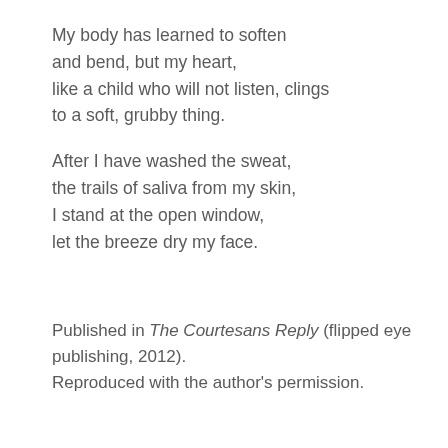My body has learned to soften
and bend, but my heart,
like a child who will not listen, clings
to a soft, grubby thing.

After I have washed the sweat,
the trails of saliva from my skin,
I stand at the open window,
let the breeze dry my face.
Published in The Courtesans Reply (flipped eye publishing, 2012).
Reproduced with the author's permission.